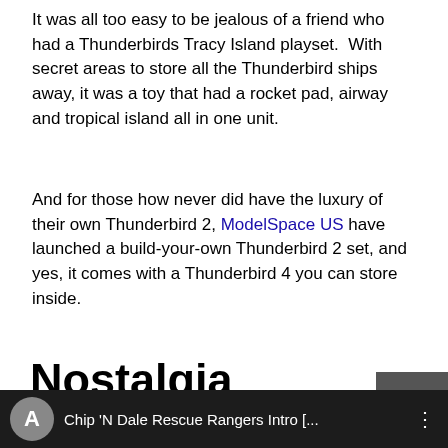It was all too easy to be jealous of a friend who had a Thunderbirds Tracy Island playset.  With secret areas to store all the Thunderbird ships away, it was a toy that had a rocket pad, airway and tropical island all in one unit.
And for those how never did have the luxury of their own Thunderbird 2, ModelSpace US have launched a build-your-own Thunderbird 2 set, and yes, it comes with a Thunderbird 4 you can store inside.
Nostalgia Overload 3: Chip 'n' Dale's Rescue Rangers
[Figure (screenshot): Video thumbnail bar showing 'Chip 'N Dale Rescue Rangers Intro [...]' with a circular icon containing letter A on dark background]